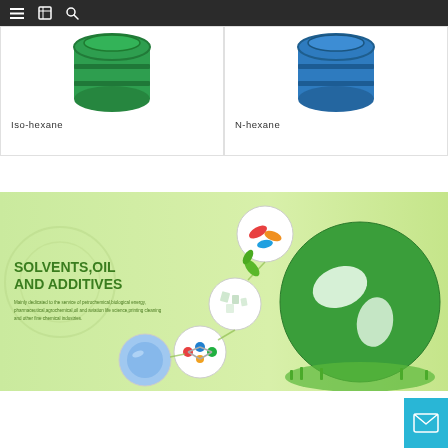Navigation bar with menu, catalog, and search icons
[Figure (photo): Green chemical drum / barrel - Iso-hexane product]
Iso-hexane
[Figure (photo): Blue chemical drum / barrel - N-hexane product]
N-hexane
[Figure (illustration): Banner image with light green background showing globe, chemical product circles (pills, crystals, molecules, water), text SOLVENTS,OIL AND ADDITIVES with subtitle about petrochemical pharmaceutical and chemical industries]
[Figure (illustration): Cyan mail/envelope contact button in bottom right corner]